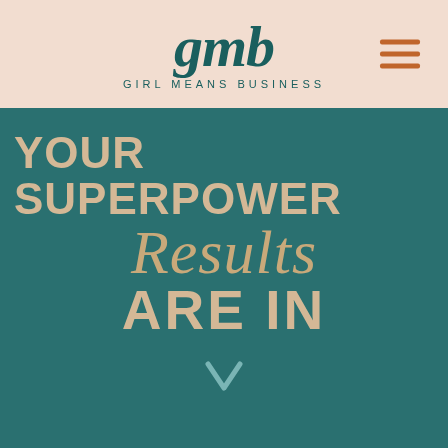[Figure (logo): GMB Girl Means Business logo with teal serif text on pink/peach background, with hamburger menu icon on right]
YOUR SUPERPOWER Results ARE IN